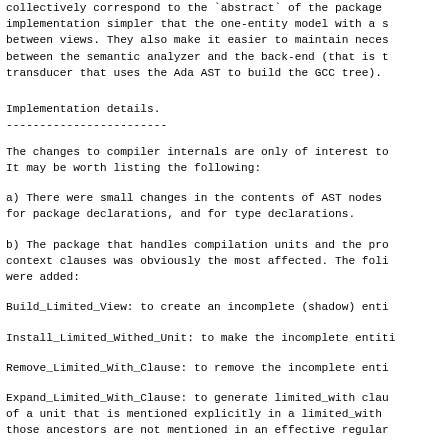collectively correspond to the 'abstract' of the package implementation simpler that the one-entity model with a s between views. They also make it easier to maintain neces between the semantic analyzer and the back-end (that is t transducer that uses the Ada AST to build the GCC tree).
Implementation details.
------------------------
The changes to compiler internals are only of interest to It may be worth listing the following:
a) There were small changes in the contents of AST nodes for package declarations, and for type declarations.
b) The package that handles compilation units and the pro context clauses was obviously the most affected. The foli were added:
Build_Limited_View: to create an incomplete (shadow) enti
Install_Limited_Withed_Unit: to make the incomplete entiti
Remove_Limited_With_Clause: to remove the incomplete enti
Expand_Limited_With_Clause: to generate limited_with clau of a unit that is mentioned explicitly in a limited_with those ancestors are not mentioned in an effective regular
In addition, the following existing routines had to be mo the above (names should be self-explanatory): Analyze_Con